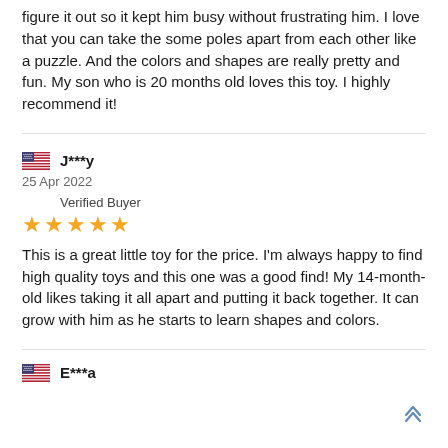figure it out so it kept him busy without frustrating him. I love that you can take the some poles apart from each other like a puzzle. And the colors and shapes are really pretty and fun. My son who is 20 months old loves this toy. I highly recommend it!
J***y
25 Apr 2022
Verified Buyer
★★★★★
This is a great little toy for the price. I'm always happy to find high quality toys and this one was a good find! My 14-month-old likes taking it all apart and putting it back together. It can grow with him as he starts to learn shapes and colors.
E***a